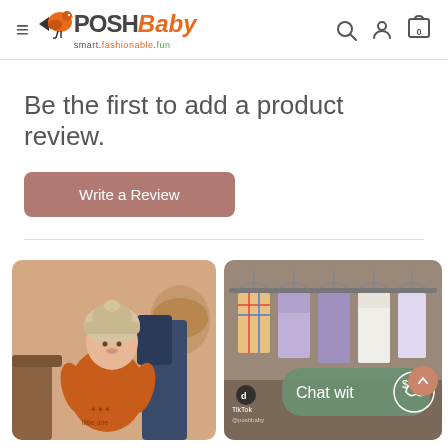PoshBaby — smart.fashionable.fun
Be the first to add a product review.
Write a Review
[Figure (photo): Baby in orange outfit with beige hat, sitting in a warm-toned room with wooden furniture and wicker basket]
[Figure (photo): Children's dresses hanging on rack in store, with a green chat bubble overlay showing 'Chat wit' and a dollar-sign heart emoji icon]